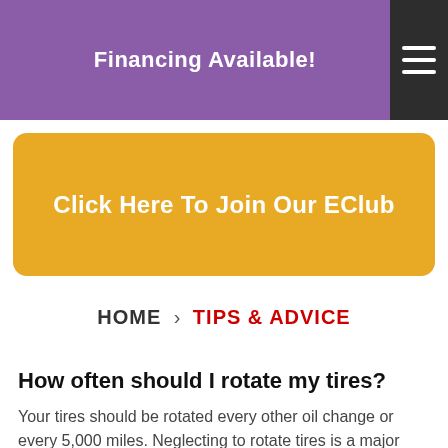Financing Available!
Click Here To Join Our EClub
HOME > TIPS & ADVICE
How often should I rotate my tires?
Your tires should be rotated every other oil change or every 5,000 miles. Neglecting to rotate tires is a major cause of premature tire wear.